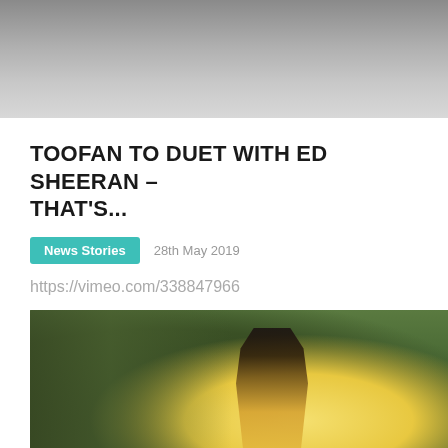[Figure (photo): Blurred/greyed out image at top of page, appears to be an outdoor scene]
TOOFAN TO DUET WITH ED SHEERAN – THAT'S...
News Stories   28th May 2019
https://vimeo.com/338847966
[Figure (photo): A woman in a yellow dress standing outdoors among green trees, smiling over her shoulder]